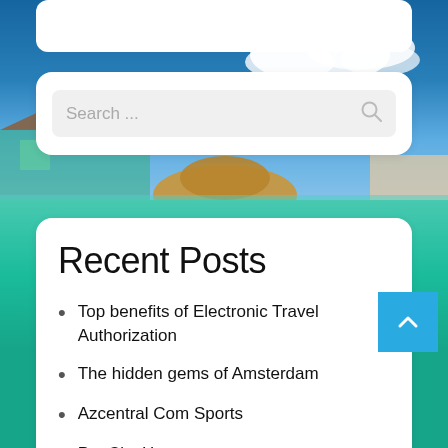[Figure (photo): Travel/beach background photo showing blue sky with clouds, tropical overwater bungalows on the left, a person in a straw hat in the center, and a person lounging on the right]
Search ...
Recent Posts
Top benefits of Electronic Travel Authorization
The hidden gems of Amsterdam
Azcentral Com Sports
Pet City Houston